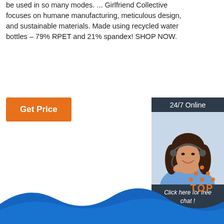be used in so many modes. ... Girlfriend Collective focuses on humane manufacturing, meticulous design, and sustainable materials. Made using recycled water bottles – 79% RPET and 21% spandex! SHOP NOW.
Get Price
[Figure (illustration): 24/7 online chat widget with a woman wearing a headset and a QUOTATION button]
[Figure (illustration): Blue wavy shape at the bottom of the page]
[Figure (other): TOP icon with orange dots forming a triangle above the text TOP]